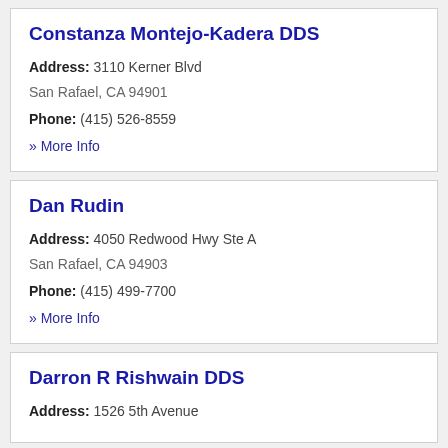Constanza Montejo-Kadera DDS
Address: 3110 Kerner Blvd
San Rafael, CA 94901
Phone: (415) 526-8559
» More Info
Dan Rudin
Address: 4050 Redwood Hwy Ste A
San Rafael, CA 94903
Phone: (415) 499-7700
» More Info
Darron R Rishwain DDS
Address: 1526 5th Avenue